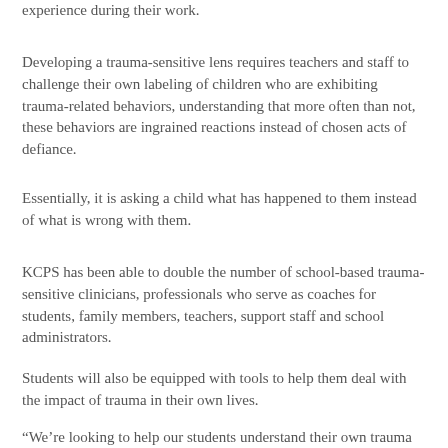experience during their work.
Developing a trauma-sensitive lens requires teachers and staff to challenge their own labeling of children who are exhibiting trauma-related behaviors, understanding that more often than not, these behaviors are ingrained reactions instead of chosen acts of defiance.
Essentially, it is asking a child what has happened to them instead of what is wrong with them.
KCPS has been able to double the number of school-based trauma-sensitive clinicians, professionals who serve as coaches for students, family members, teachers, support staff and school administrators.
Students will also be equipped with tools to help them deal with the impact of trauma in their own lives.
“We’re looking to help our students understand their own trauma and